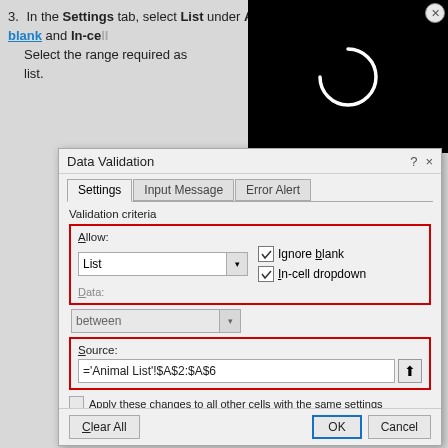3. In the Settings tab, select List under Allow, and ensure that Ignore blank and In-cell dropdown are checked. Select the range required as the source of the dropdown list.
[Figure (screenshot): Black loading overlay with white spinning arc/circle indicator]
[Figure (screenshot): Data Validation dialog box showing Settings tab with Allow set to List, Ignore blank and In-cell dropdown checkboxes checked, and Source field containing ='Animal List'!$A$2:$A$6]